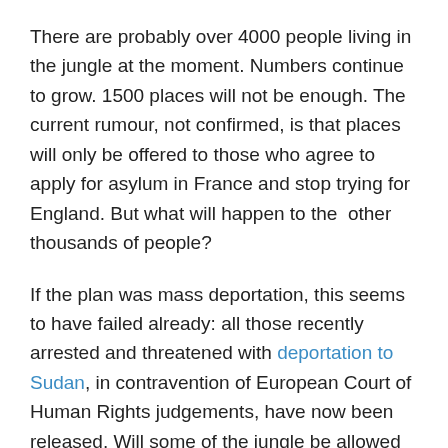There are probably over 4000 people living in the jungle at the moment. Numbers continue to grow. 1500 places will not be enough. The current rumour, not confirmed, is that places will only be offered to those who agree to apply for asylum in France and stop trying for England. But what will happen to the  other thousands of people?
If the plan was mass deportation, this seems to have failed already: all those recently arrested and threatened with deportation to Sudan, in contravention of European Court of Human Rights judgements, have now been released. Will some of the jungle be allowed to remain next to the official camp? Or will we go back to the old pattern of constant attacks, harassments and evictions, as people without papers are again chased from one squat or makeshift camp to the next?